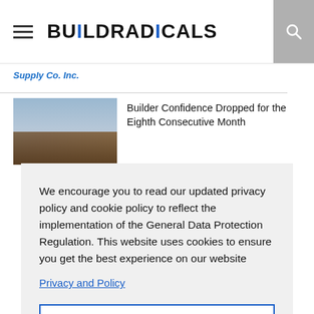BUILDRADICALS
Supply Co. Inc.
Builder Confidence Dropped for the Eighth Consecutive Month
We encourage you to read our updated privacy policy and cookie policy to reflect the implementation of the General Data Protection Regulation. This website uses cookies to ensure you get the best experience on our website
Privacy and Policy
Got it!